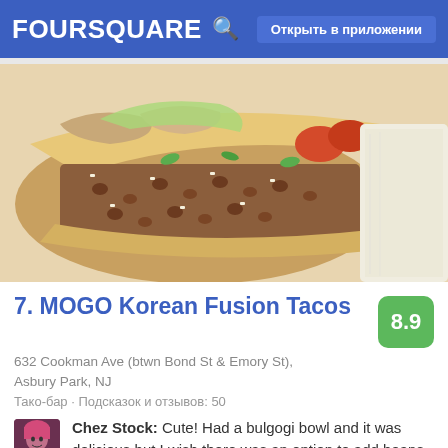FOURSQUARE  Открыть в приложении
[Figure (photo): Close-up photo of a Korean fusion taco/burrito with beans, rice, chicken, jalapeños, tomatoes, and lettuce filling]
7. MOGO Korean Fusion Tacos
8.9
632 Cookman Ave (btwn Bond St & Emory St), Asbury Park, NJ
Тако-бар · Подсказок и отзывов: 50
Chez Stock: Cute! Had a bulgogi bowl and it was delicious but I wish there was an option to add beans